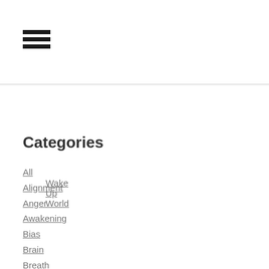[Figure (other): Hamburger menu icon with three horizontal black bars]
Wake Up World
Categories
All
Alignment
Anger
Awakening
Bias
Brain
Breath
Confidence
Connection
Emotion
Fear